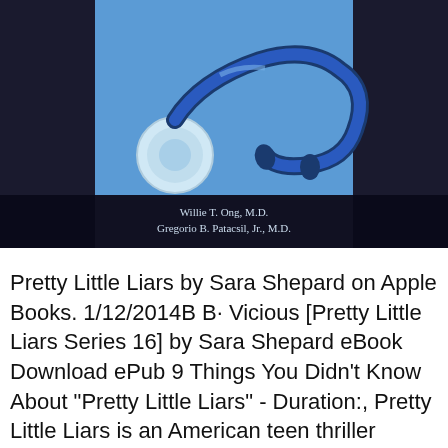[Figure (photo): Book cover image showing a blue stethoscope on a dark background, with author names 'Willie T. Ong, M.D.' and 'Gregorio B. Patacsil, Jr., M.D.' on a dark band at the bottom of the cover.]
Pretty Little Liars by Sara Shepard on Apple Books. 1/12/2014B B· Vicious [Pretty Little Liars Series 16] by Sara Shepard eBook Download ePub 9 Things You Didn't Know About "Pretty Little Liars" - Duration:, Pretty Little Liars is an American teen thriller television The ratings success of the first 10 episodes